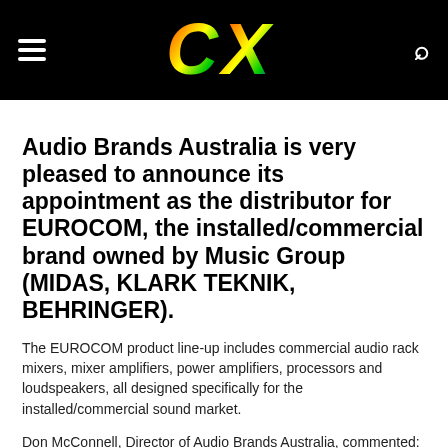CX
Audio Brands Australia is very pleased to announce its appointment as the distributor for EUROCOM, the installed/commercial brand owned by Music Group (MIDAS, KLARK TEKNIK, BEHRINGER).
The EUROCOM product line-up includes commercial audio rack mixers, mixer amplifiers, power amplifiers, processors and loudspeakers, all designed specifically for the installed/commercial sound market.
Don McConnell, Director of Audio Brands Australia, commented: “I’ve been watching the EUROCOM range develop and expand for some time and it is already well established and proven in other parts of the world. The EUROCOM range goes far beyond